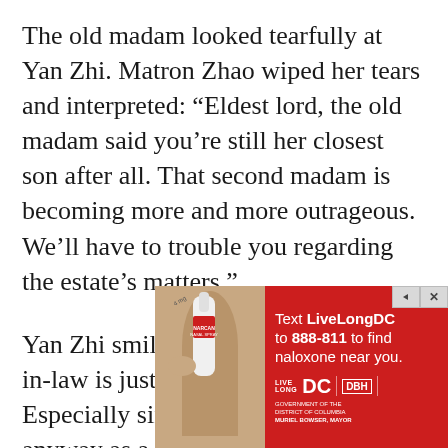The old madam looked tearfully at Yan Zhi. Matron Zhao wiped her tears and interpreted: “Eldest lord, the old madam said you’re still her closest son after all. That second madam is becoming more and more outrageous. We’ll have to trouble you regarding the estate’s matters.”
Yan Zhi smiled bitterly: “Second sis-in-law is just too overcome with grief. Especially since she cannot do much anyway as a woman.”
The old madam babbled something unclear. Matron Zhao leaned over and listened for a while before
[Figure (other): Advertisement banner: Red background with text 'Text LiveLongDC to 888-811 to find naloxone near you.' with LiveLong DC, DBH, and DC Government logos. Shows a hand holding a Narcan nasal spray device.]